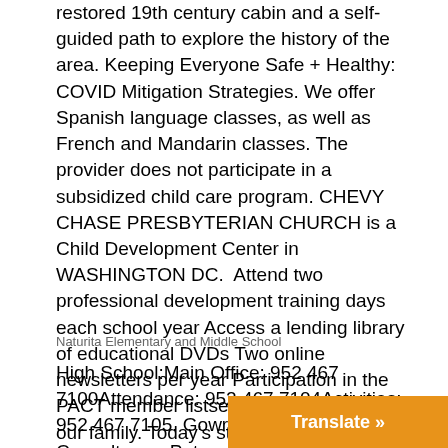restored 19th century cabin and a self-guided path to explore the history of the area. Keeping Everyone Safe + Healthy: COVID Mitigation Strategies. We offer Spanish language classes, as well as French and Mandarin classes. The provider does not participate in a subsidized child care program. CHEVY CHASE PRESBYTERIAN CHURCH is a Child Development Center in WASHINGTON DC.  Attend two professional development training days each school year Access a lending library of educational DVDs Two online newsletters per year Participation in the PACT member listserv. Learn more about our family. Today's structure was built in 1917 with revisions made throughout the next several decades.
Naturita Elementary and Middle School
High School:Main Office: 952 467 7100Attendance: 952 467 7104Activities: 952 467 7105. Gowrie Training and Consultancy. Patrons using Accessible Pa